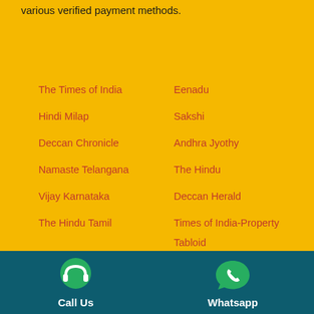various verified payment methods.
The Times of India
Hindi Milap
Deccan Chronicle
Namaste Telangana
Vijay Karnataka
The Hindu Tamil
Dinamalar
Business line
Prajavani
Udayavani
Mathrubhumi
Eenadu
Sakshi
Andhra Jyothy
The Hindu
Deccan Herald
Times of India-Property Tabloid
Madhyamam
New Indian Express
Economic Times
Kannada Prabha
Malayala Manorama
Call Us
Whatsapp